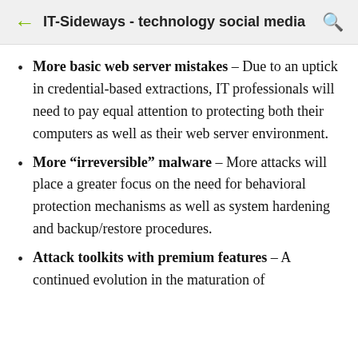IT-Sideways - technology social media
More basic web server mistakes - Due to an uptick in credential-based extractions, IT professionals will need to pay equal attention to protecting both their computers as well as their web server environment.
More “irreversible” malware - More attacks will place a greater focus on the need for behavioral protection mechanisms as well as system hardening and backup/restore procedures.
Attack toolkits with premium features - A continued evolution in the maturation of